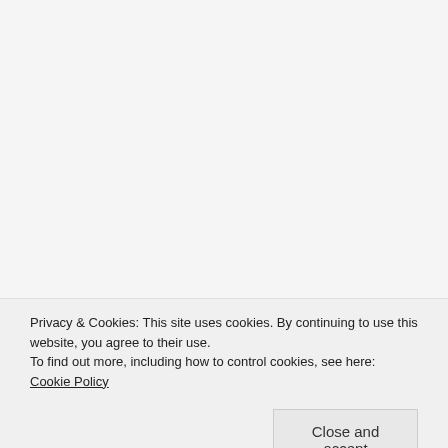confidential legal aid documents
confidentiality
consent orders
contempt of court and children proceedings
costs and family proceedings
Covid 19 and family courts
Cretan diary
cross-examination by alleged abusers
disclosure
divorce
divorce reform
Privacy & Cookies: This site uses cookies. By continuing to use this website, you agree to their use. To find out more, including how to control cookies, see here: Cookie Policy
ES Mahrawar